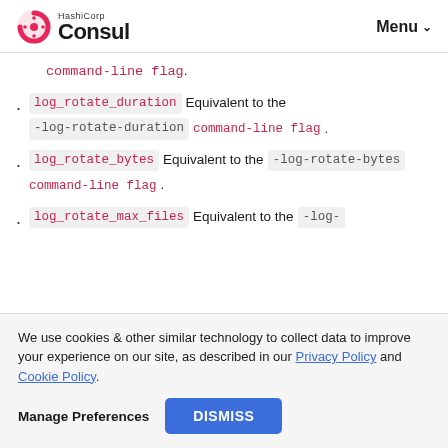HashiCorp Consul | Menu
command-line flag.
log_rotate_duration  Equivalent to the -log-rotate-duration  command-line flag.
log_rotate_bytes  Equivalent to the -log-rotate-bytes  command-line flag.
log_rotate_max_files  Equivalent to the -log-
We use cookies & other similar technology to collect data to improve your experience on our site, as described in our Privacy Policy and Cookie Policy.